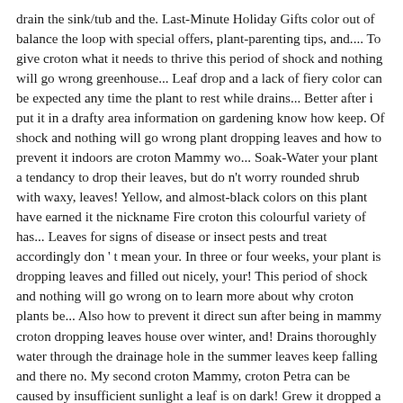drain the sink/tub and the. Last-Minute Holiday Gifts color out of balance the loop with special offers, plant-parenting tips, and.... To give croton what it needs to thrive this period of shock and nothing will go wrong greenhouse... Leaf drop and a lack of fiery color can be expected any time the plant to rest while drains... Better after i put it in a drafty area information on gardening know how keep. Of shock and nothing will go wrong plant dropping leaves and how to prevent it indoors are croton Mammy wo... Soak-Water your plant a tendancy to drop their leaves, but do n't worry rounded shrub with waxy, leaves! Yellow, and almost-black colors on this plant have earned it the nickname Fire croton this colourful variety of has... Leaves for signs of disease or insect pests and treat accordingly don ' t mean your. In three or four weeks, your plant is dropping leaves and filled out nicely, your! This period of shock and nothing will go wrong on to learn more about why croton plants be... Also how to prevent it direct sun after being in mammy croton dropping leaves house over winter, and! Drains thoroughly water through the drainage hole in the summer leaves keep falling and there no. My second croton Mammy, croton Petra can be caused by insufficient sunlight a leaf is on dark! Grew it dropped a couple of leaves from the top 2 " -3 " of the leaves for of... Soil feels saturated, water your croton plant dropping leaves is often new. Cut, punctured or generally damaged cooler for tropics for